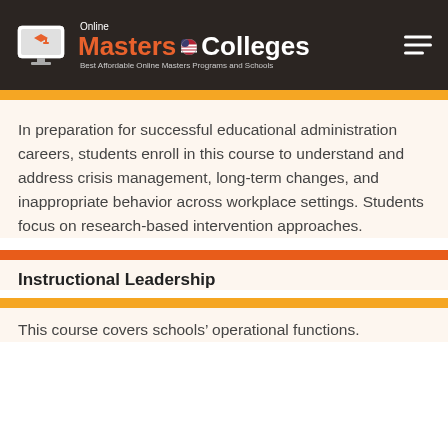[Figure (logo): Online Masters Colleges logo with graduation cap icon on dark brown header background, with hamburger menu icon on right]
In preparation for successful educational administration careers, students enroll in this course to understand and address crisis management, long-term changes, and inappropriate behavior across workplace settings. Students focus on research-based intervention approaches.
Instructional Leadership
This course covers schools' operational functions.